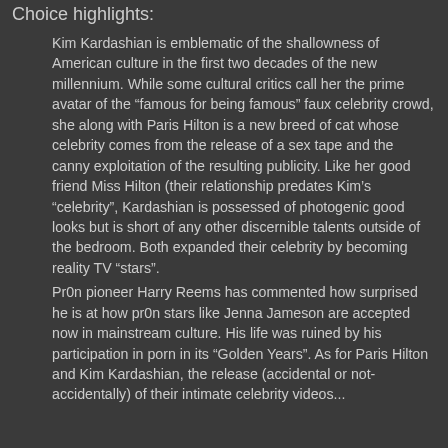Choice highlights:
Kim Kardashian is emblematic of the shallowness of American culture in the first two decades of the new millennium. While some cultural critics call her the prime avatar of the “famous for being famous” faux celebrity crowd, she along with Paris Hilton is a new breed of cat whose celebrity comes from the release of a sex tape and the canny exploitation of the resulting publicity. Like her good friend Miss Hilton (their relationship predates Kim’s “celebrity”, Kardashian is possessed of photogenic good looks but is short of any other discernible talents outside of the bedroom. Both expanded their celebrity by becoming reality TV “stars”.
Pr0n pioneer Harry Reems has commented how surprised he is at how pr0n stars like Jenna Jameson are accepted now in mainstream culture. His life was ruined by his participation in porn in its “Golden Years”. As for Paris Hilton and Kim Kardashian, the release (accidental or not-accidentally) of their intimate celebrity videos...